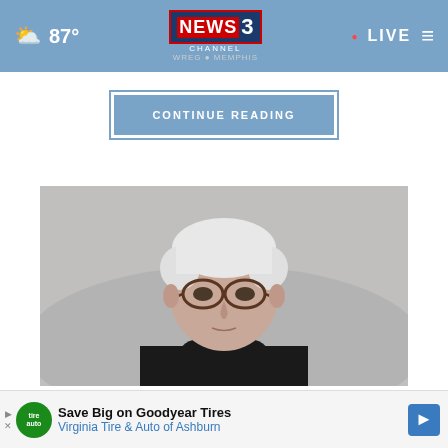87° NEWS CHANNEL 3 WREG MEMPHIS · LIVE
CONTINUE READING
[Figure (photo): Portrait photo of older woman with short white hair, glasses, and black turtleneck sweater against gray background]
These Are the Top Financial Advisors in Ashburn
Save Big on Goodyear Tires Virginia Tire & Auto of Ashburn